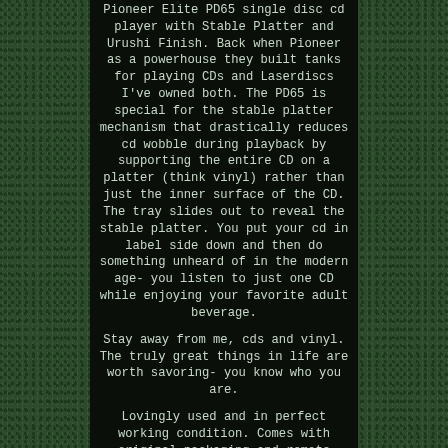Pioneer Elite PD65 single disc cd player with Stable Platter and Urushi Finish. Back when Pioneer as a powerhouse they built tanks for playing CDs and Laserdiscs I've owned both. The PD65 is special for the stable platter mechanism that drastically reduces cd wobble during playback by supporting the entire CD on a platter (think vinyl) rather than just the inner surface of the CD. The tray slides out to reveal the stable platter. You put your cd in label side down and then do something unheard of in the modern age- you listen to just one CD while enjoying your favorite adult beverage.
Stay away from me, cds and vinyl. The truly great things in life are worth savoring- you know who you are.
Lovingly used and in perfect working condition. Comes with original packaging and remote control. Features analog and digital outputs if you want to hook up the latest in digital to analog conversion. The item "Pioneer